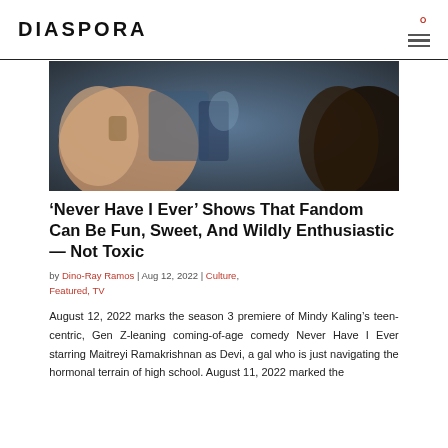DIASPORA
[Figure (photo): Close-up photo of people in a crowd, hands reaching out, one person with a wristwatch visible, another person with dark hair visible on the right side. The image appears to be from a fan event or public gathering.]
‘Never Have I Ever’ Shows That Fandom Can Be Fun, Sweet, And Wildly Enthusiastic — Not Toxic
by Dino-Ray Ramos | Aug 12, 2022 | Culture, Featured, TV
August 12, 2022 marks the season 3 premiere of Mindy Kaling’s teen-centric, Gen Z-leaning coming-of-age comedy Never Have I Ever starring Maitreyi Ramakrishnan as Devi, a gal who is just navigating the hormonal terrain of high school. August 11, 2022 marked the